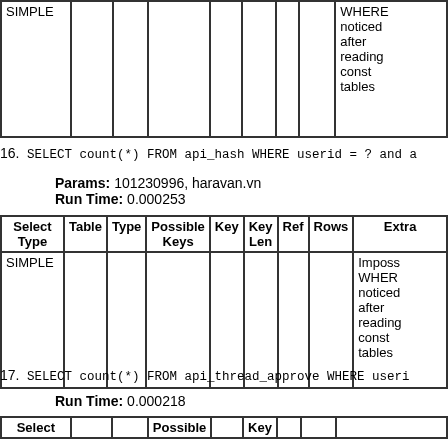| Select Type | Table | Type | Possible Keys | Key | Key Len | Ref | Rows | Extra |
| --- | --- | --- | --- | --- | --- | --- | --- | --- |
| SIMPLE |  |  |  |  |  |  |  | WHERE noticed after reading const tables |
16. SELECT count(*) FROM api_hash WHERE userid = ? and a
Params: 101230996, haravan.vn
Run Time: 0.000253
| Select Type | Table | Type | Possible Keys | Key | Key Len | Ref | Rows | Extra |
| --- | --- | --- | --- | --- | --- | --- | --- | --- |
| SIMPLE |  |  |  |  |  |  |  | Imposs WHERE noticed after reading const tables |
17. SELECT count(*) FROM api_thread_approve WHERE useri
Run Time: 0.000218
| Select |  |  | Possible |  | Key |  |  |  |
| --- | --- | --- | --- | --- | --- | --- | --- | --- |